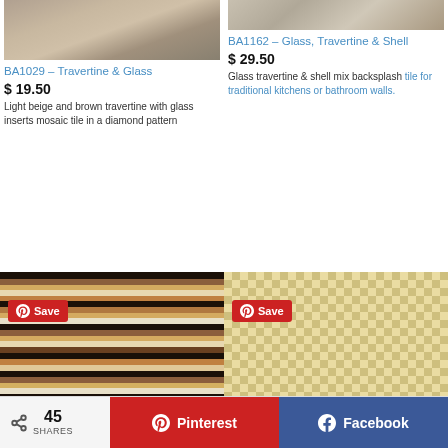[Figure (photo): Travertine & Glass mosaic tile product image (BA1029)]
BA1029 – Travertine & Glass
$ 19.50
Light beige and brown travertine with glass inserts mosaic tile in a diamond pattern
[Figure (photo): Glass, Travertine & Shell mosaic tile product image (BA1162)]
BA1162 – Glass, Travertine & Shell
$ 29.50
Glass travertine & shell mix backsplash tile for traditional kitchens or bathroom walls.
[Figure (photo): Striped glass mosaic tile with brown, gold, black horizontal stripes, with Pinterest Save button overlay]
[Figure (photo): Gold and white square mosaic tile pattern, with Pinterest Save button overlay]
45 SHARES  Pinterest  Facebook